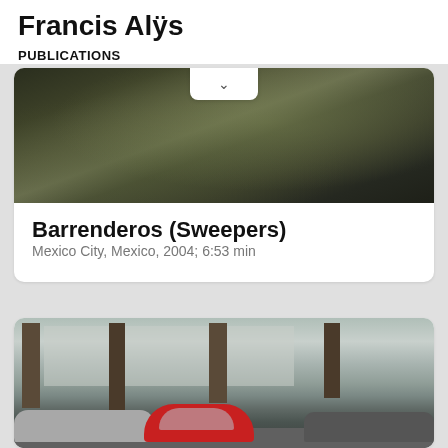Francis Alÿs
PUBLICATIONS
[Figure (photo): Dark greenish metallic debris or crumpled material, with a dropdown chevron button overlay at top center]
Barrenderos (Sweepers)
Mexico City, Mexico, 2004; 6:53 min
[Figure (photo): Street scene with bare winter trees, apartment buildings in background, a red Volkswagen Beetle car in center, silver car on left, dark SUV on right]